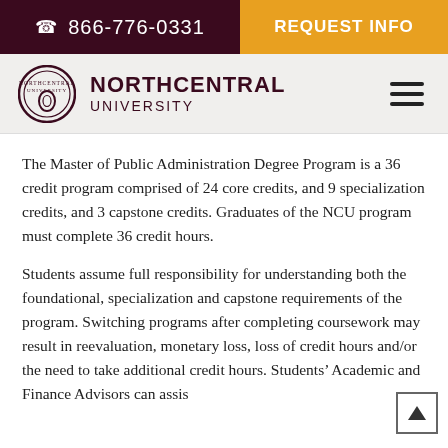866-776-0331  |  REQUEST INFO
[Figure (logo): Northcentral University logo with circular seal and text NORTHCENTRAL UNIVERSITY]
The Master of Public Administration Degree Program is a 36 credit program comprised of 24 core credits, and 9 specialization credits, and 3 capstone credits. Graduates of the NCU program must complete 36 credit hours.
Students assume full responsibility for understanding both the foundational, specialization and capstone requirements of the program. Switching programs after completing coursework may result in reevaluation, monetary loss, loss of credit hours and/or the need to take additional credit hours. Students' Academic and Finance Advisors can assist with questions related to courses requirements.